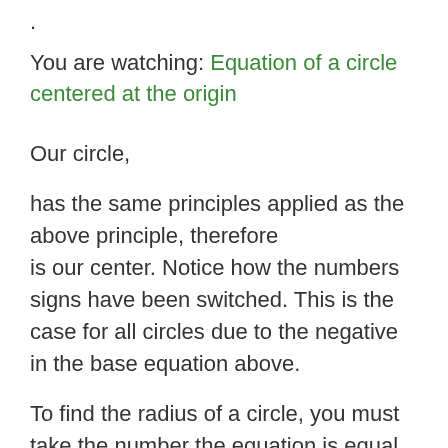.
You are watching: Equation of a circle centered at the origin
Our circle,
has the same principles applied as the above principle, therefore is our center. Notice how the numbers signs have been switched. This is the case for all circles due to the negative in the base equation above.
To find the radius of a circle, you must take the number the equation is equal to and square root it. This is due to the square of
mentioned above. The . Use the least common multiples of 27 to find that